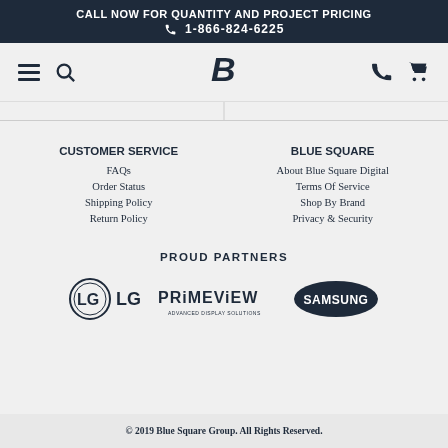CALL NOW FOR QUANTITY AND PROJECT PRICING
1-866-824-6225
[Figure (screenshot): Navigation bar with hamburger menu, search icon, Blue Square Digital logo (B), phone icon, and shopping cart icon]
CUSTOMER SERVICE
FAQs
Order Status
Shipping Policy
Return Policy
BLUE SQUARE
About Blue Square Digital
Terms Of Service
Shop By Brand
Privacy & Security
PROUD PARTNERS
[Figure (logo): LG logo]
[Figure (logo): Primeview Advanced Display Solutions logo]
[Figure (logo): Samsung logo]
© 2019 Blue Square Group. All Rights Reserved.